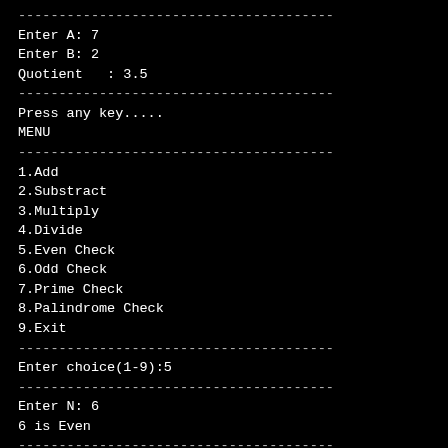Enter A: 7
Enter B: 2
Quotient   : 3.5
Press any key.....
MENU
1.Add
2.Substract
3.Multiply
4.Divide
5.Even Check
6.Odd Check
7.Prime Check
8.Palindrome Check
9.Exit
Enter choice(1-9):5
Enter N: 6
6 is Even
Press any key.....
MENU